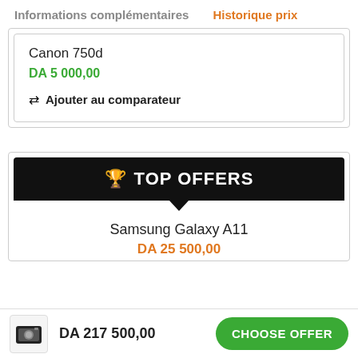Informations complémentaires   Historique prix
Canon 750d
DA 5 000,00
⇄ Ajouter au comparateur
[Figure (infographic): TOP OFFERS banner with trophy icon and dark background]
Samsung Galaxy A11
DA 25 500,00
DA 217 500,00
CHOOSE OFFER